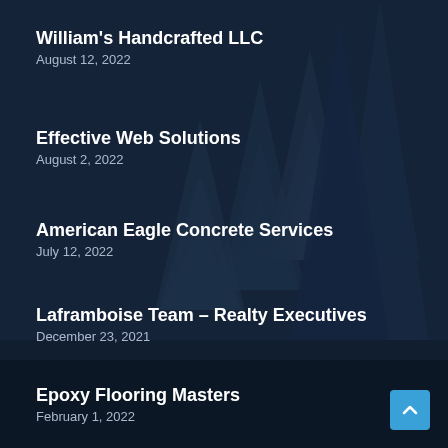[Figure (illustration): Dark blue night forest background with conifer/pine trees silhouette against a deep navy blue sky]
William's Handcrafted LLC
August 12, 2022
Effective Web Solutions
August 2, 2022
American Eagle Concrete Services
July 12, 2022
Laframboise Team – Realty Executives
December 23, 2021
Epoxy Flooring Masters
February 1, 2022